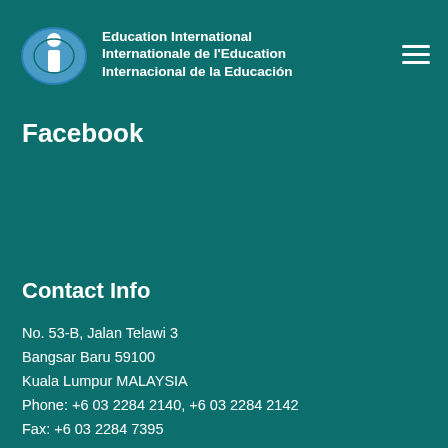Education International Internationale de l'Education Internacional de la Educación
Facebook
Contact Info
No. 53-B, Jalan Telawi 3
Bangsar Baru 59100
Kuala Lumpur MALAYSIA
Phone: +6 03 2284 2140, +6 03 2284 2142
Fax: +6 03 2284 7395